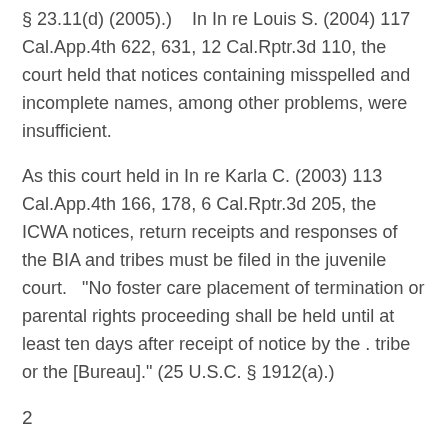§ 23.11(d) (2005).)    In In re Louis S. (2004) 117 Cal.App.4th 622, 631, 12 Cal.Rptr.3d 110, the court held that notices containing misspelled and incomplete names, among other problems, were insufficient.
As this court held in In re Karla C. (2003) 113 Cal.App.4th 166, 178, 6 Cal.Rptr.3d 205, the ICWA notices, return receipts and responses of the BIA and tribes must be filed in the juvenile court.   "No foster care placement of termination or parental rights proceeding shall be held until at least ten days after receipt of notice by the . tribe or the [Bureau]." (25 U.S.C. § 1912(a).)
2
In Dwayne P., this court held in a writ proceeding challenging the scheduling of a selection and implementation hearing under section 366.26 that the parents could raise ICWA notice issues even though they did not appeal the